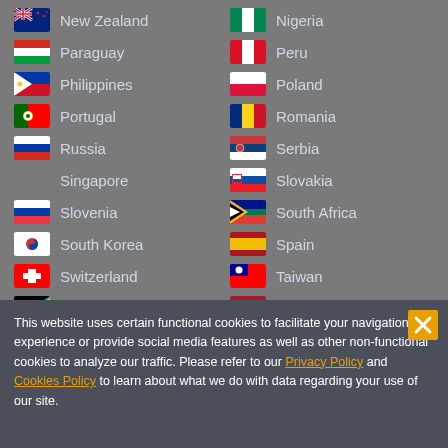New Zealand
Nigeria
Paraguay
Peru
Philippines
Poland
Portugal
Romania
Russia
Serbia
Singapore
Slovakia
Slovenia
South Africa
South Korea
Spain
Switzerland
Taiwan
Tanzania
Thailand
Turkey
Uganda
Ukraine
United Kingdom
This website uses certain functional cookies to facilitate your navigation experience or provide social media features as well as other non-functional cookies to analyze our traffic. Please refer to our Privacy Policy and Cookies Policy to learn about what we do with data regarding your use of our site.